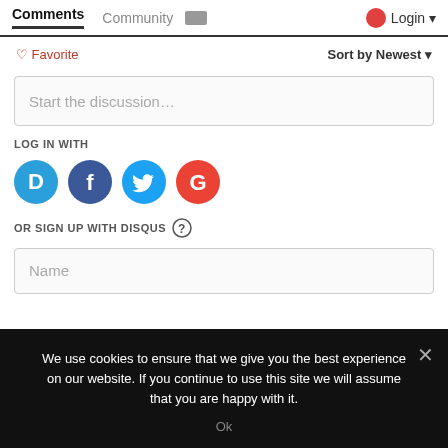Comments  Community  Login
♡ Favorite   Sort by Newest
Start the discussion…
LOG IN WITH
[Figure (other): Four social login icons: Disqus (blue D), Facebook (dark blue F), Twitter (light blue bird), Google (red G)]
OR SIGN UP WITH DISQUS ?
Name
We use cookies to ensure that we give you the best experience on our website. If you continue to use this site we will assume that you are happy with it.
Ok